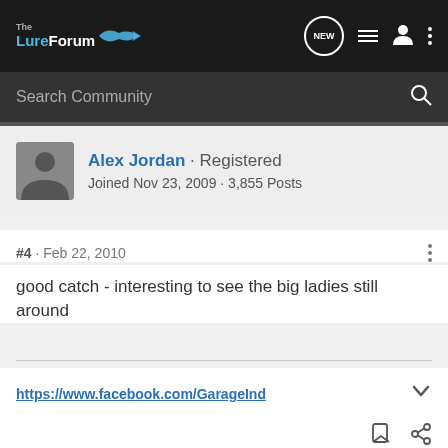The LureForum
Search Community
Alex Jordan · Registered
Joined Nov 23, 2009 · 3,855 Posts
#4 · Feb 22, 2010
good catch - interesting to see the big ladies still around
https://www.facebook.com/GarageInd